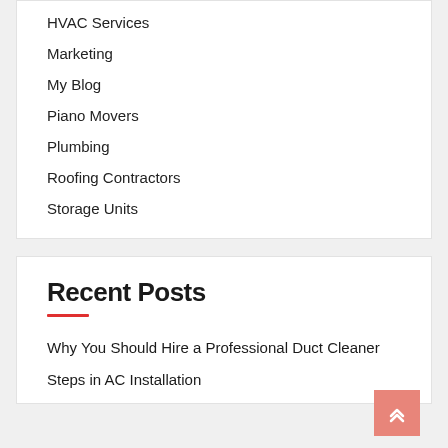HVAC Services
Marketing
My Blog
Piano Movers
Plumbing
Roofing Contractors
Storage Units
Recent Posts
Why You Should Hire a Professional Duct Cleaner
Steps in AC Installation